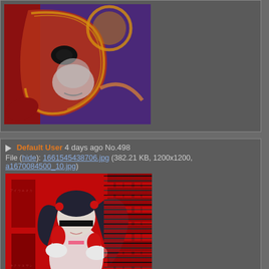[Figure (illustration): Collage artwork showing a Venetian-style decorative mask in red and gold over a black-and-white face, with purple and red background elements.]
Default User 4 days ago No.498
File (hide): 1661545438706.jpg (382.21 KB, 1200x1200, a1670084500_10.jpg)
[Figure (illustration): Glitch art illustration of an anime-style girl with dark hair, wearing a white dress with pink accents, red gloves, on a heavily distorted red background with digital corruption artifacts.]